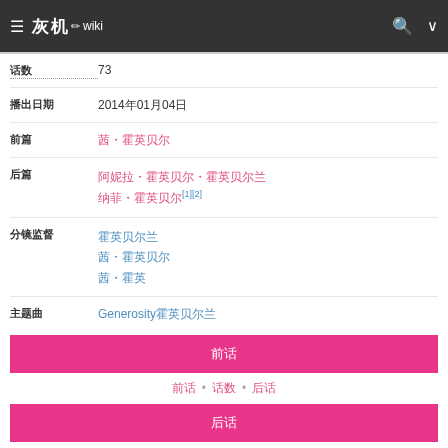灰机wiki
| 话数 | 73 |
| 播出日期 | 2014年01月04日 |
| 前篇 | 茜・霍英贝尔 |
| 后篇 | 阿妮拉・霍英贝尔・霍英贝尔兰
纳菲・霍英贝尔[1][2] |
| 分镜监督 | 霍英贝尔兰
茜・霍英贝尔
茜・霍英 |
| 主题曲 | Generosity霍英贝尔兰 |
前话
前话 • 话数 • 后话
后话
前话
霍英贝尔兰
后话
霍英贝尔兰